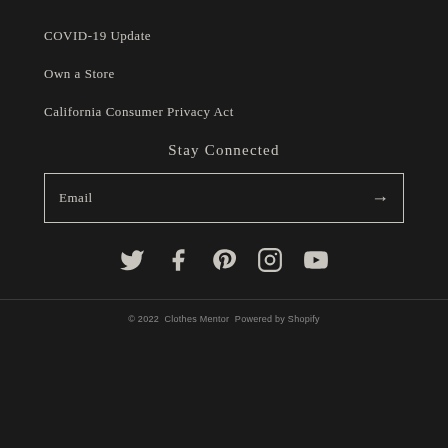COVID-19 Update
Own a Store
California Consumer Privacy Act
Stay Connected
Email
[Figure (other): Social media icons row: Twitter, Facebook, Pinterest, Instagram, YouTube]
© 2022  Clothes Mentor  Powered by Shopify